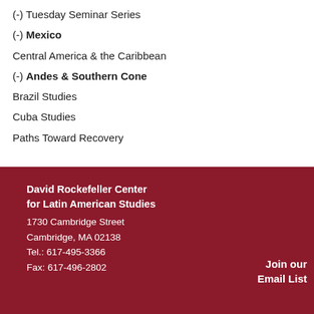(-) Tuesday Seminar Series
(-) Mexico
Central America & the Caribbean
(-) Andes & Southern Cone
Brazil Studies
Cuba Studies
Paths Toward Recovery
David Rockefeller Center for Latin American Studies
1730 Cambridge Street
Cambridge, MA 02138
Tel.: 617-495-3366
Fax: 617-496-2802
Join our Email List